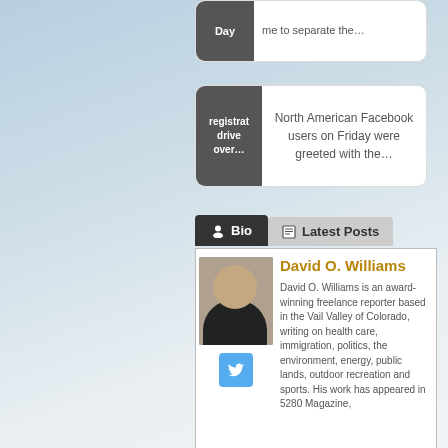Day
me to separate the…
registrat drive over…
North American Facebook users on Friday were greeted with the…
Bio
Latest Posts
David O. Williams
David O. Williams is an award-winning freelance reporter based in the Vail Valley of Colorado, writing on health care, immigration, politics, the environment, energy, public lands, outdoor recreation and sports. His work has appeared in 5280 Magazine,